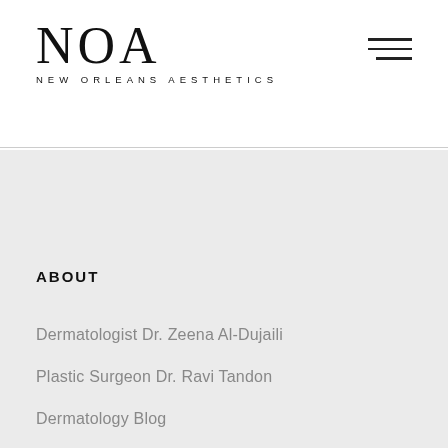[Figure (logo): NOA New Orleans Aesthetics logo with large serif NOA text and spaced-letter subtitle]
ABOUT
Dermatologist Dr. Zeena Al-Dujaili
Plastic Surgeon Dr. Ravi Tandon
Dermatology Blog